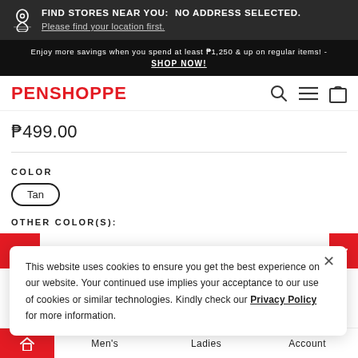FIND STORES NEAR YOU:  NO ADDRESS SELECTED. Please find your location first.
Enjoy more savings when you spend at least ₱1,250 & up on regular items! - SHOP NOW!
PENSHOPPE
₱499.00
COLOR
Tan
OTHER COLOR(S):
This website uses cookies to ensure you get the best experience on our website. Your continued use implies your acceptance to our use of cookies or similar technologies. Kindly check our Privacy Policy for more information.
Men's  Ladies  Account